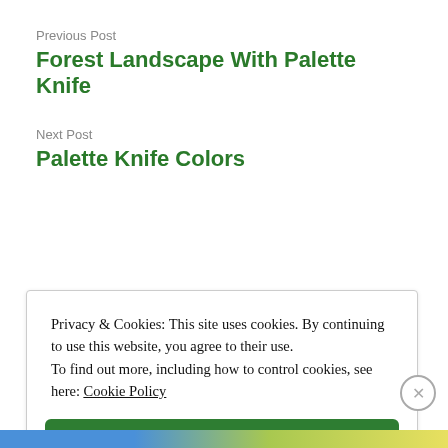Previous Post
Forest Landscape With Palette Knife
Next Post
Palette Knife Colors
Privacy & Cookies: This site uses cookies. By continuing to use this website, you agree to their use.
To find out more, including how to control cookies, see here: Cookie Policy
Close and accept